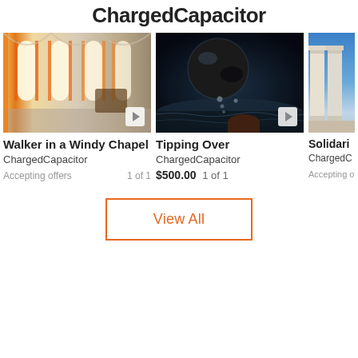ChargedCapacitor
[Figure (photo): 3D render of a chapel interior with tall arched windows glowing orange, and figures inside]
Walker in a Windy Chapel
ChargedCapacitor
Accepting offers   1 of 1
[Figure (photo): Dark cinematic 3D render of a large metallic sphere tipping over water with smaller spheres trailing]
Tipping Over
ChargedCapacitor
$500.00 1 of 1
[Figure (photo): 3D render of classical columns against a blue sky, partially cropped]
Solidari
ChargedC
Accepting offe
View All